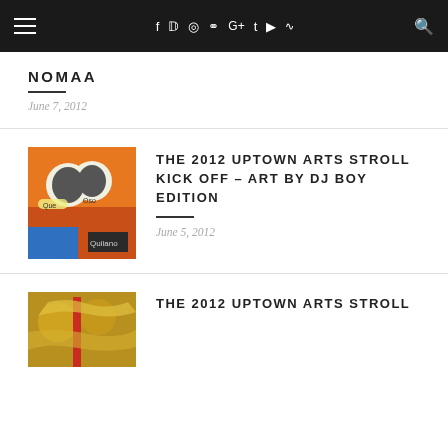≡  f  ✦  ⊙  ℗  G+  t  ▶  )))  🔍
NOMAA
June 7, 2012
[Figure (photo): Colorful graffiti mural with cartoon characters in orange, red, blue and green]
THE 2012 UPTOWN ARTS STROLL KICK OFF – ART BY DJ BOY EDITION
June 5, 2012
[Figure (photo): Ornate golden decorative art detail with red element]
THE 2012 UPTOWN ARTS STROLL